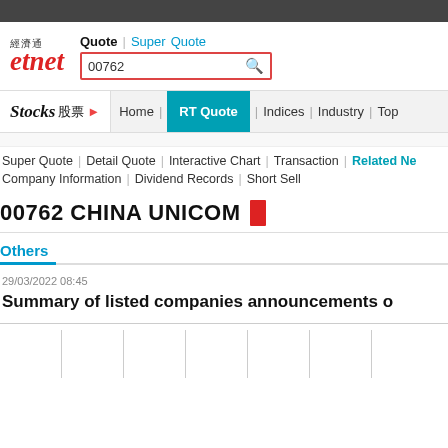etnet 經濟通 — Quote | Super Quote — Search: 00762
Stocks 股票 | Home | RT Quote | Indices | Industry | Top...
Super Quote | Detail Quote | Interactive Chart | Transaction | Related Ne... | Company Information | Dividend Records | Short Sell
00762 CHINA UNICOM
Others
29/03/2022 08:45
Summary of listed companies announcements o...